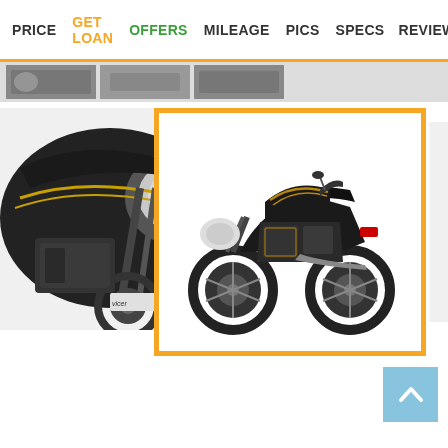PRICE | GET LOAN | OFFERS | MILEAGE | PICS | SPECS | REVIEW
[Figure (photo): Navigation thumbnail strip showing partial motorcycle images]
[Figure (photo): Left partial close-up photo of motorcycle front/headlamp area, black and gold design]
[Figure (photo): Center full side-view photo of black motorcycle (Bajaj Discover style), highlighted with orange border]
[Figure (photo): Right side-view photo of black motorcycle, rear quarter view]
[Figure (screenshot): Scroll-to-top button, light blue square with upward chevron arrow]